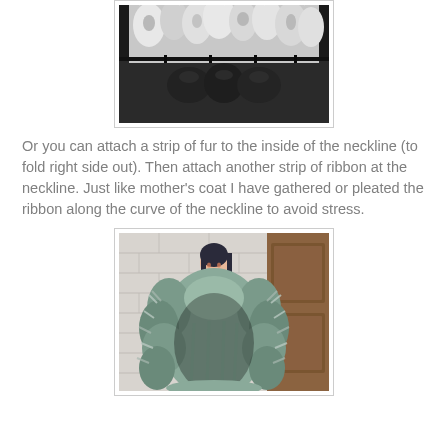[Figure (photo): Close-up photo of white/grey faux fur trim attached to the inside of a dark fabric neckline, showing the fur folded over the edge.]
Or you can attach a strip of fur to the inside of the neckline (to fold right side out). Then attach another strip of ribbon at the neckline. Just like mother's coat I have gathered or pleated the ribbon along the curve of the neckline to avoid stress.
[Figure (photo): Photo of a fashion doll wearing a coat with large grey/teal feathery or fur trim collar, standing near a white brick wall and wooden door.]